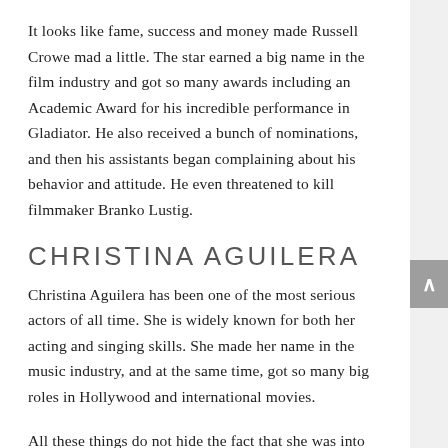It looks like fame, success and money made Russell Crowe mad a little. The star earned a big name in the film industry and got so many awards including an Academic Award for his incredible performance in Gladiator. He also received a bunch of nominations, and then his assistants began complaining about his behavior and attitude. He even threatened to kill filmmaker Branko Lustig.
CHRISTINA AGUILERA
Christina Aguilera has been one of the most serious actors of all time. She is widely known for both her acting and singing skills. She made her name in the music industry, and at the same time, got so many big roles in Hollywood and international movies.
All these things do not hide the fact that she was into